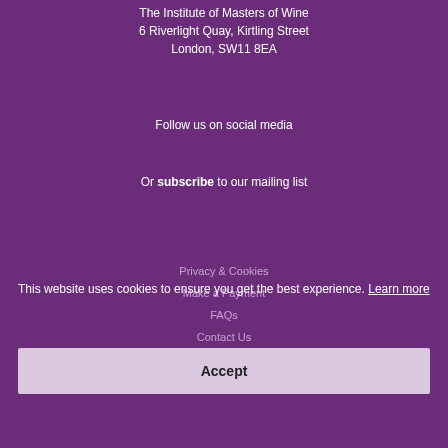The Institute of Masters of Wine
6 Riverlight Quay, Kirtling Street
London, SW11 8EA
Follow us on social media
Or subscribe to our mailing list
Privacy & Cookies
Make a Payment
FAQs
Contact Us
Complaints Procedure
Media Enquiries
This website uses cookies to ensure you get the best experience. Learn more
Accept